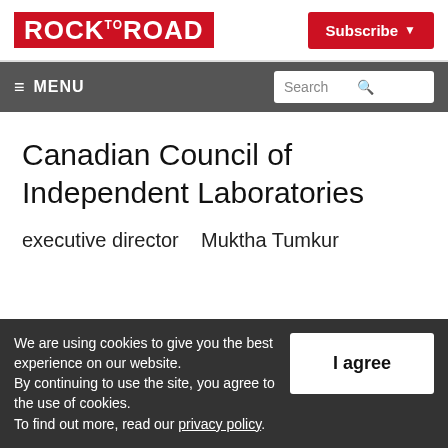ROCK to ROAD | Subscribe
≡ MENU | Search
Canadian Council of Independent Laboratories
executive director   Muktha Tumkur
We are using cookies to give you the best experience on our website. By continuing to use the site, you agree to the use of cookies. To find out more, read our privacy policy.